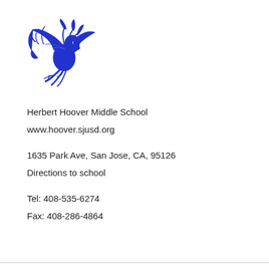[Figure (logo): Blue eagle/falcon mascot logo for Herbert Hoover Middle School]
Herbert Hoover Middle School
www.hoover.sjusd.org
1635 Park Ave, San Jose, CA, 95126
Directions to school
Tel: 408-535-6274
Fax: 408-286-4864